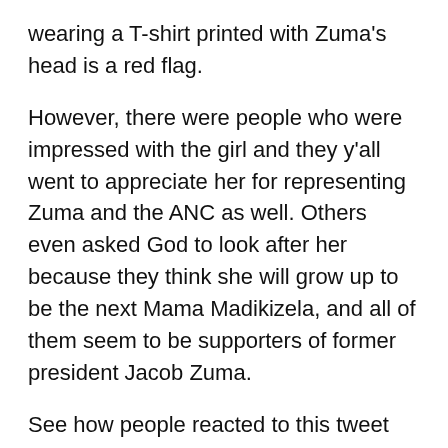wearing a T-shirt printed with Zuma's head is a red flag.
However, there were people who were impressed with the girl and they y'all went to appreciate her for representing Zuma and the ANC as well. Others even asked God to look after her because they think she will grow up to be the next Mama Madikizela, and all of them seem to be supporters of former president Jacob Zuma.
See how people reacted to this tweet below :
It seems like there are a lot of people who still have faith in Zuma running the ANC again. A lot of people in KwaZulu-Natal have been wearing those kinds of